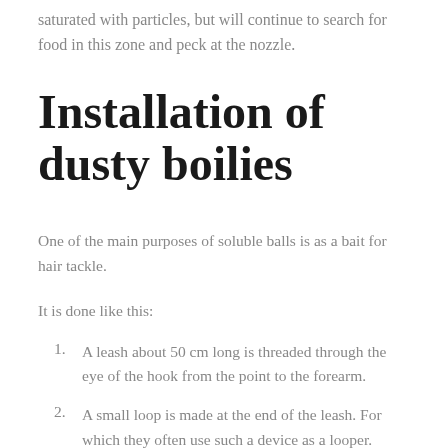saturated with particles, but will continue to search for food in this zone and peck at the nozzle.
Installation of dusty boilies
One of the main purposes of soluble balls is as a bait for hair tackle.
It is done like this:
A leash about 50 cm long is threaded through the eye of the hook from the point to the forearm.
A small loop is made at the end of the leash. For which they often use such a device as a looper.